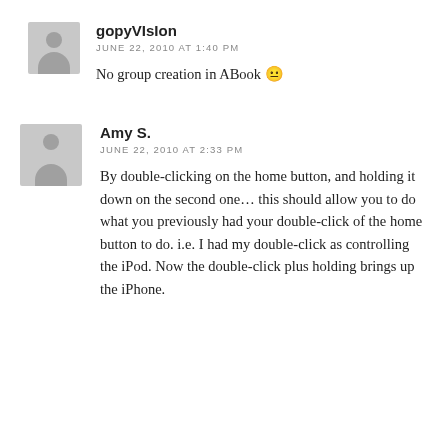gopyVIsIon
JUNE 22, 2010 AT 1:40 PM
No group creation in ABook 😐
Amy S.
JUNE 22, 2010 AT 2:33 PM
By double-clicking on the home button, and holding it down on the second one… this should allow you to do what you previously had your double-click of the home button to do. i.e. I had my double-click as controlling the iPod. Now the double-click plus holding brings up the iPhone.